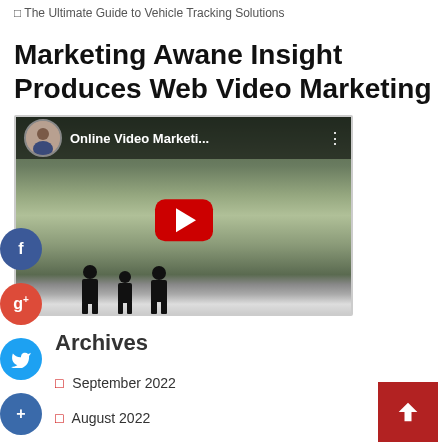The Ultimate Guide to Vehicle Tracking Solutions
Marketing Awane Insight Produces Web Video Marketing
[Figure (screenshot): YouTube video thumbnail showing 'Online Video Marketi...' with a play button, avatar of a man in suit, and silhouettes of people walking in front of a glass building]
Archives
September 2022
August 2022